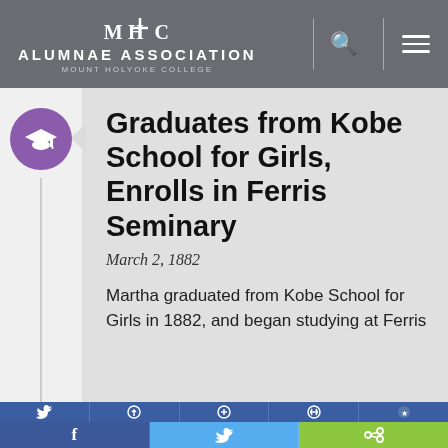MHC ALUMNAE ASSOCIATION MOUNT HOLYOKE COLLEGE
Graduates from Kobe School for Girls, Enrolls in Ferris Seminary
March 2, 1882
Martha graduated from Kobe School for Girls in 1882, and began studying at Ferris
[Figure (screenshot): Social media sharing bar with Facebook, Twitter, and share buttons at bottom of page]